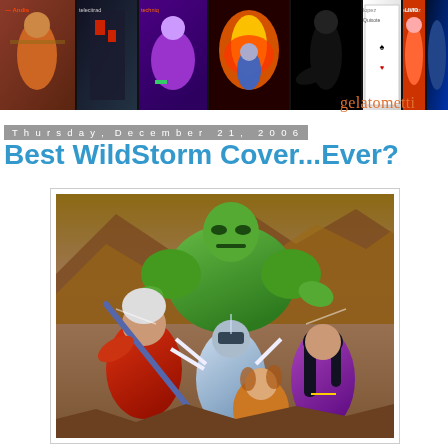[Figure (illustration): Blog header banner showing a horizontal strip of comic book covers with various superhero and character illustrations. Site name 'gelatometti' appears in orange at bottom right.]
Thursday, December 21, 2006
Best WildStorm Cover...Ever?
[Figure (illustration): Comic book cover artwork showing multiple WildStorm superhero characters in dynamic poses. A large green muscular figure dominates the top center, with a red-suited character on the left, a silver/blue suited figure in center, and a purple-suited female character on the right. Rocky canyon terrain in the background.]